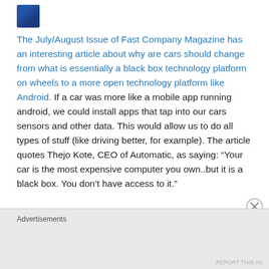[Figure (photo): Small avatar/profile photo thumbnail in upper left, showing a person]
The July/August Issue of Fast Company Magazine has an interesting article about why are cars should change from what is essentially a black box technology platform on wheels to a more open technology platform like Android. If a car was more like a mobile app running android, we could install apps that tap into our cars sensors and other data. This would allow us to do all types of stuff (like driving better, for example). The article quotes Thejo Kote, CEO of Automatic, as saying: “Your car is the most expensive computer you own..but it is a black box. You don’t have access to it.”
Advertisements